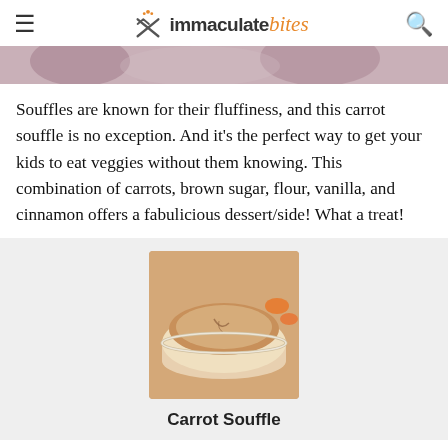immaculate bites
[Figure (photo): Partial top strip of a food photo showing blurred pinkish-red background]
Souffles are known for their fluffiness, and this carrot souffle is no exception. And it’s the perfect way to get your kids to eat veggies without them knowing. This combination of carrots, brown sugar, flour, vanilla, and cinnamon offers a fabulicious dessert/side! What a treat!
[Figure (photo): Photo of a carrot souffle in a white ramekin dusted with powdered sugar, with carrot pieces visible in the background]
Carrot Souffle
Rich, fluffy, and oh-so-yummy CARROT SOUFFLE is an elegant crowd-pleasing side dish any time of the